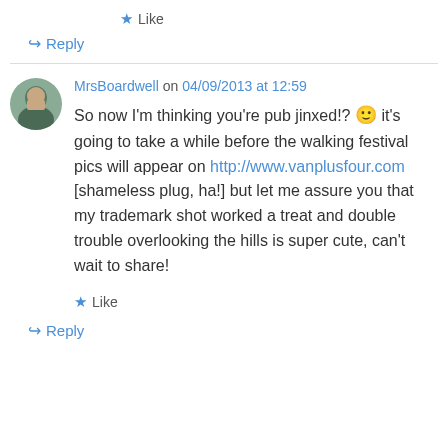★ Like
↪ Reply
MrsBoardwell on 04/09/2013 at 12:59
So now I'm thinking you're pub jinxed!? 🙂 it's going to take a while before the walking festival pics will appear on http://www.vanplusfour.com [shameless plug, ha!] but let me assure you that my trademark shot worked a treat and double trouble overlooking the hills is super cute, can't wait to share!
★ Like
↪ Reply